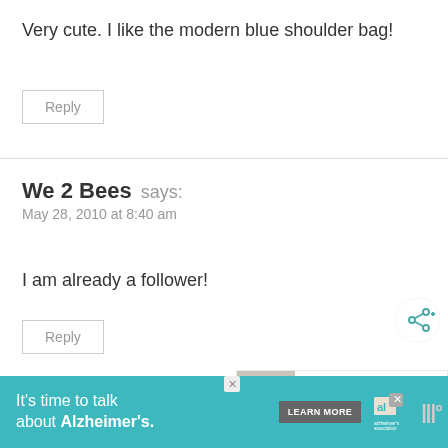Very cute. I like the modern blue shoulder bag!
Reply
We 2 Bees says:
May 28, 2010 at 8:40 am
I am already a follower!
Reply
[Figure (screenshot): Share button (circular white button with share icon and plus sign)]
[Figure (screenshot): What's Next panel showing FREE SVG Cut Files for Cri...]
[Figure (screenshot): Advertisement banner: It's time to talk about Alzheimer's. Learn More button. Alzheimer's Association logo.]